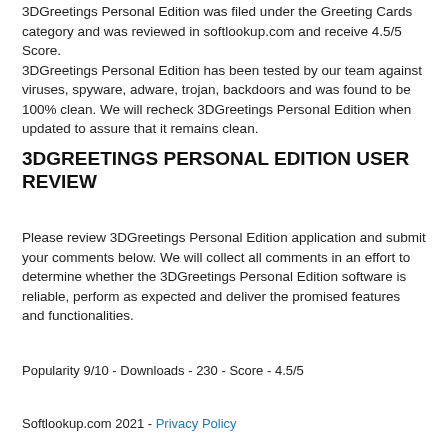3DGreetings Personal Edition was filed under the Greeting Cards category and was reviewed in softlookup.com and receive 4.5/5 Score.
3DGreetings Personal Edition has been tested by our team against viruses, spyware, adware, trojan, backdoors and was found to be 100% clean. We will recheck 3DGreetings Personal Edition when updated to assure that it remains clean.
3DGREETINGS PERSONAL EDITION USER REVIEW
Please review 3DGreetings Personal Edition application and submit your comments below. We will collect all comments in an effort to determine whether the 3DGreetings Personal Edition software is reliable, perform as expected and deliver the promised features and functionalities.
Popularity 9/10 - Downloads - 230 - Score - 4.5/5
Softlookup.com 2021 - Privacy Policy